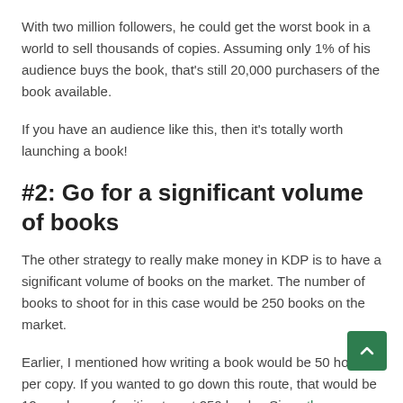With two million followers, he could get the worst book in a world to sell thousands of copies. Assuming only 1% of his audience buys the book, that's still 20,000 purchasers of the book available.
If you have an audience like this, then it's totally worth launching a book!
#2: Go for a significant volume of books
The other strategy to really make money in KDP is to have a significant volume of books on the market. The number of books to shoot for in this case would be 250 books on the market.
Earlier, I mentioned how writing a book would be 50 hours per copy. If you wanted to go down this route, that would be 12,500 hours of writing to get 250 books. Since the average America works about 2,000 hours a year, it would take you about six years…